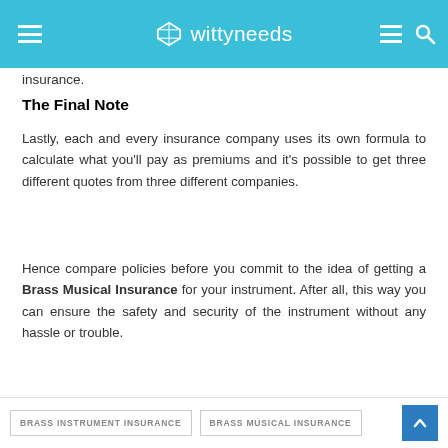wittyneeds
insurance.
The Final Note
Lastly, each and every insurance company uses its own formula to calculate what you'll pay as premiums and it's possible to get three different quotes from three different companies.
Hence compare policies before you commit to the idea of getting a Brass Musical Insurance for your instrument. After all, this way you can ensure the safety and security of the instrument without any hassle or trouble.
BRASS INSTRUMENT INSURANCE   BRASS MUSICAL INSURANCE